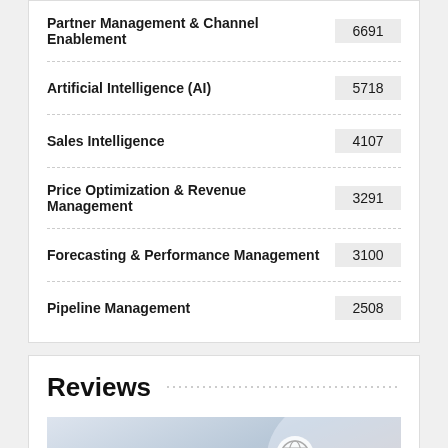| Category | Count |
| --- | --- |
| Partner Management & Channel Enablement | 6691 |
| Artificial Intelligence (AI) | 5718 |
| Sales Intelligence | 4107 |
| Price Optimization & Revenue Management | 3291 |
| Forecasting & Performance Management | 3100 |
| Pipeline Management | 2508 |
Reviews
[Figure (photo): Person holding a stylus/pen over a digital device with glowing circular icons representing global connectivity, security (lock), finance (dollar sign), and wireless signal overlaid on the image. Red bar accent on right edge.]